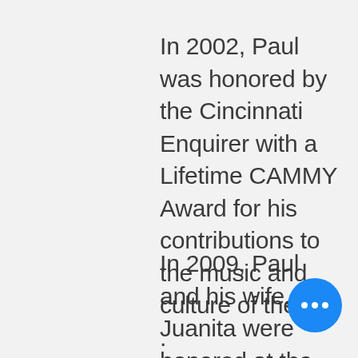In 2002, Paul was honored by the Cincinnati Enquirer with a Lifetime CAMMY Award for his contributions to the music and culture of the city .
In 2009, Paul and his wife, Juanita were honored at the Rock and Roll Hall of Fame and Museum in Cleveland, as part of their “From Songwriters to